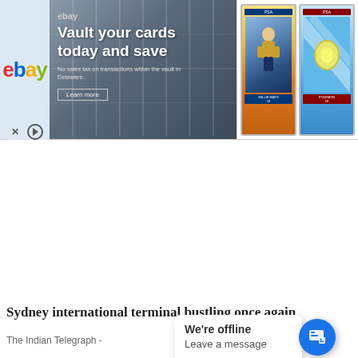[Figure (screenshot): eBay advertisement banner: eBay logo on left blue background, center shows 'Vault your cards today and save' text over locker room background image, right side shows two graded trading card images (baseball card and Pokemon card). Close X and play button icons at bottom left.]
[Figure (photo): Sydney international airport terminal interior, wide architecture shot showing large open terminal space with structural elements, predominantly grey/white tones, slightly washed out.]
Sydney international terminal bustling once again
The Indian Telegraph -
[Figure (screenshot): Chat widget popup showing 'We're offline' and 'Leave a message' text, with blue circular chat bubble icon containing speech bubble icon on the right.]